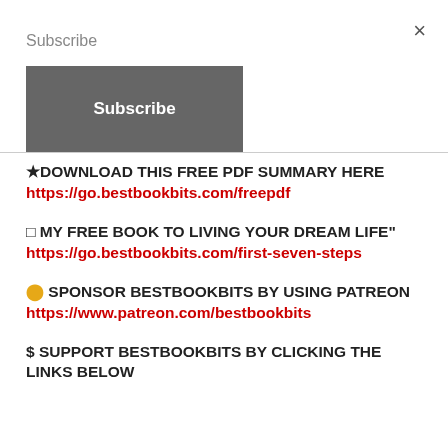×
Subscribe
Subscribe
★DOWNLOAD THIS FREE PDF SUMMARY HERE https://go.bestbookbits.com/freepdf
□ MY FREE BOOK TO LIVING YOUR DREAM LIFE" https://go.bestbookbits.com/first-seven-steps
🟡 SPONSOR BESTBOOKBITS BY USING PATREON https://www.patreon.com/bestbookbits
$ SUPPORT BESTBOOKBITS BY CLICKING THE LINKS BELOW